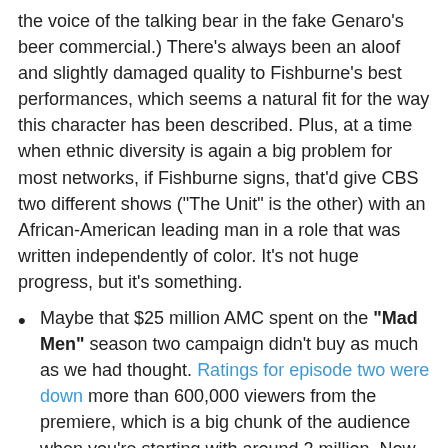the voice of the talking bear in the fake Genaro's beer commercial.) There's always been an aloof and slightly damaged quality to Fishburne's best performances, which seems a natural fit for the way this character has been described. Plus, at a time when ethnic diversity is again a big problem for most networks, if Fishburne signs, that'd give CBS two different shows ("The Unit" is the other) with an African-American leading man in a role that was written independently of color. It's not huge progress, but it's something.
Maybe that $25 million AMC spent on the "Mad Men" season two campaign didn't buy as much as we had thought. Ratings for episode two were down more than 600,000 viewers from the premiere, which is a big chunk of the audience when you're starting with around 2 million. Now, this doesn't factor in On Demand or multiple airings, but depending on whether the trend continues, we could wind up with season two